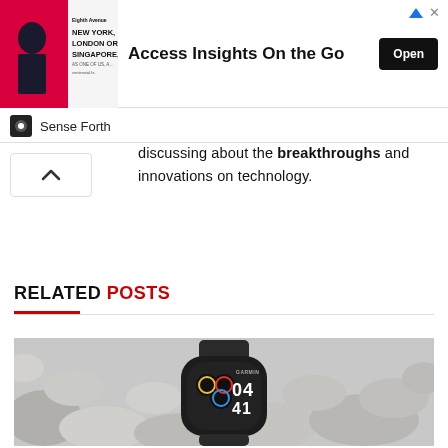[Figure (screenshot): Advertisement banner: image of man in suit with text 'NEW YORK, LONDON OR SINGAPORE' on left, headline 'Access Insights On the Go' in center, 'Open' button on right. Sponsored by Sense Forth.]
discussing about the breakthroughs and innovations on technology.
RELATED POSTS
[Figure (photo): Photo of a Garmin smartwatch (showing time 04:41) resting on white/grey pebble rocks.]